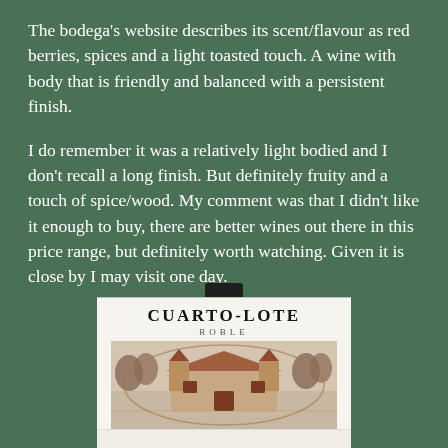The bodega's website describes its scent/flavour as red berries, spices and a light toasted touch. A wine with body that is friendly and balanced with a persistent finish.
I do remember it was a relatively light bodied and I don't recall a long finish. But definitely fruity and a touch of spice/wood. My comment was that I didn't like it enough to buy, there are better wines out there in this price range, but definitely worth watching. Given it is close by I may visit one day.
[Figure (photo): Cuarto-Lote Roble wine bottle label showing the brand name 'CUARTO-LOTE' and 'ROBLE' with an illustration of a winery building]